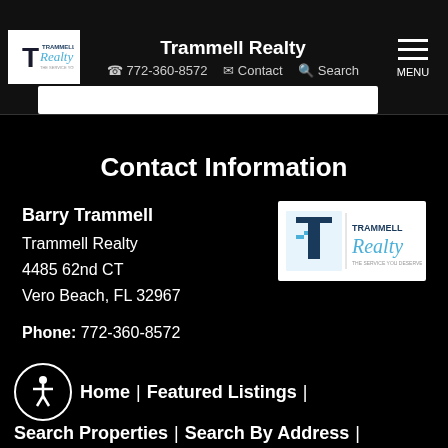Trammell Realty | 772-360-8572 | Contact | Search | MENU
Contact Information
Barry Trammell
Trammell Realty
4485 62nd CT
Vero Beach, FL 32967
[Figure (logo): Trammell Realty logo with T icon and stylized Realty text]
Phone: 772-360-8572
Send a message
Home | Featured Listings | Search Properties | Search By Address |